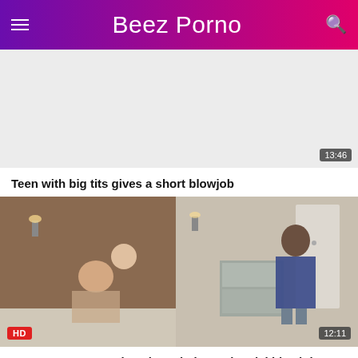Beez Porno
[Figure (screenshot): Video thumbnail placeholder with time badge 13:46]
Teen with big tits gives a short blowjob
[Figure (photo): Video thumbnail showing scene with HD badge and time badge 12:11]
Gorgeous amateur kneels and gives a bestial blowjob